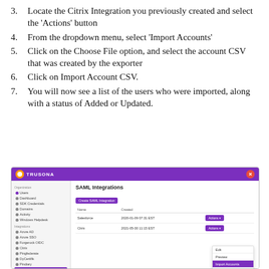3. Locate the Citrix Integration you previously created and select the ‘Actions’ button
4. From the dropdown menu, select ‘Import Accounts’
5. Click on the Choose File option, and select the account CSV that was created by the exporter
6. Click on Import Account CSV.
7. You will now see a list of the users who were imported, along with a status of Added or Updated.
[Figure (screenshot): Screenshot of the Trusona SAML Integrations page showing a list of integrations including Salesforce and Citrix, with the Actions dropdown open for Citrix showing options: Edit, Preview, Import Accounts (highlighted in purple), View Metadata XML, Download Certificate.]